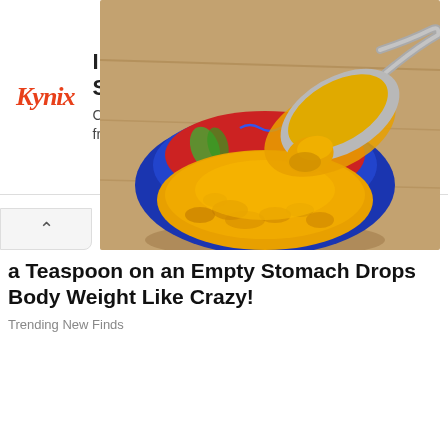[Figure (screenshot): Kynix Integrated Circuits Supplier advertisement banner with Kynix logo in red italic, bold heading 'Integrated Circuits Supplier', subtext 'Check Part Availability & Inventory from Kynix Kynix', and a 'Get Quote' button]
[Figure (photo): Photo of a blue decorative ceramic bowl filled with bright yellow-orange turmeric powder, with a spoon scooping powder above the bowl, on a wooden surface]
a Teaspoon on an Empty Stomach Drops Body Weight Like Crazy!
Trending New Finds